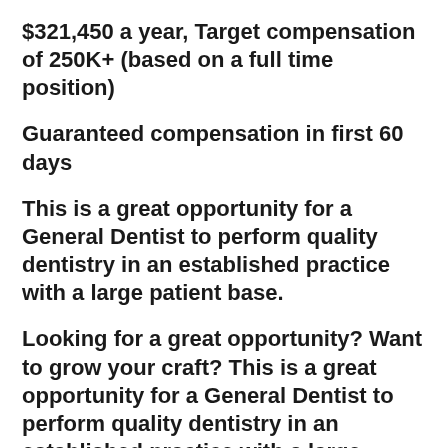$321,450 a year, Target compensation of 250K+ (based on a full time position)
Guaranteed compensation in first 60 days
This is a great opportunity for a General Dentist to perform quality dentistry in an established practice with a large patient base.
Looking for a great opportunity? Want to grow your craft? This is a great opportunity for a General Dentist to perform quality dentistry in an established practice with a large patient base. We have so much to offer, come tour our office today. Full time or